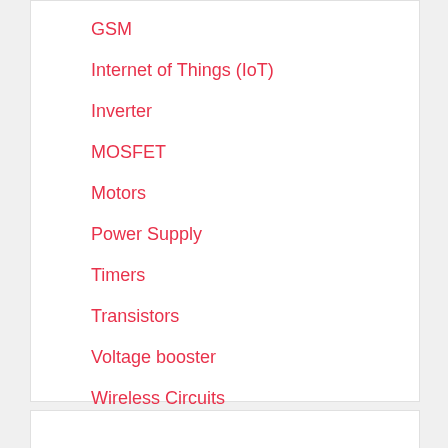GSM
Internet of Things (IoT)
Inverter
MOSFET
Motors
Power Supply
Timers
Transistors
Voltage booster
Wireless Circuits
Wireless Power